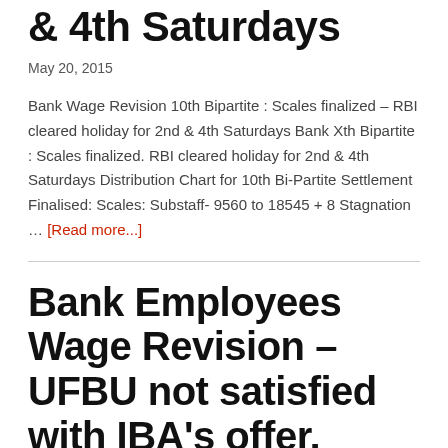& 4th Saturdays
May 20, 2015
Bank Wage Revision 10th Bipartite : Scales finalized – RBI cleared holiday for 2nd & 4th Saturdays Bank Xth Bipartite : Scales finalized. RBI cleared holiday for 2nd & 4th Saturdays Distribution Chart for 10th Bi-Partite Settlement Finalised: Scales: Substaff- 9560 to 18545 + 8 Stagnation … [Read more...]
Bank Employees Wage Revision – UFBU not satisfied with IBA's offer,